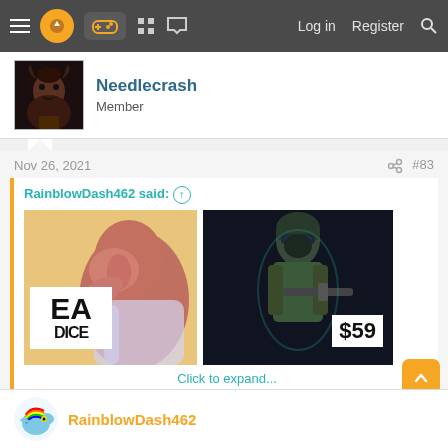≡ [logo] [controller icon] [grid icon] [chat icon]   Log in   Register   🔍
[Figure (photo): User avatar for Needlecrash — dark fantasy character portrait]
Needlecrash
Member
Nov 26, 2021   #83
RainblowDash462 said: ↑
[Figure (illustration): Drake meme split image: left side shows Drake turning away from EA DICE logo, right side shows soldier with $59 price tag — meme implying preference for paying $59 over EA DICE free game]
Click to expand...
Is that bottom pic an actual shot?
RainblowDash462